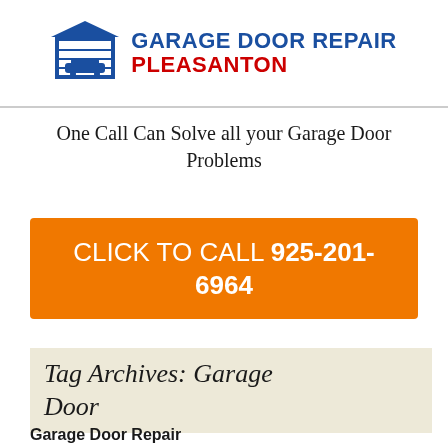[Figure (logo): Garage Door Repair Pleasanton logo with a blue garage door icon and text 'GARAGE DOOR REPAIR' in blue and 'PLEASANTON' in red]
One Call Can Solve all your Garage Door Problems
CLICK TO CALL 925-201-6964
Tag Archives: Garage Door
Garage Door Repair